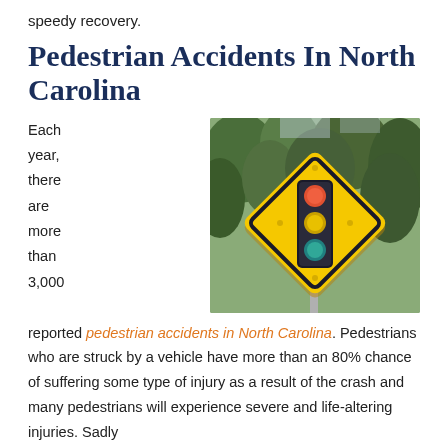speedy recovery.
Pedestrian Accidents In North Carolina
[Figure (photo): Photo of a yellow diamond-shaped traffic light warning sign mounted on a pole, with trees in the background. The sign shows a traffic signal with red, yellow, and green lights depicted.]
Each year, there are more than 3,000 reported pedestrian accidents in North Carolina. Pedestrians who are struck by a vehicle have more than an 80% chance of suffering some type of injury as a result of the crash and many pedestrians will experience severe and life-altering injuries. Sadly